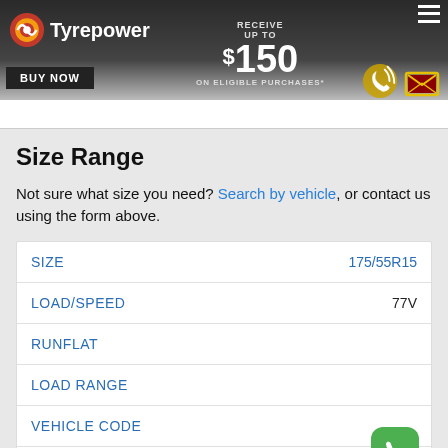[Figure (screenshot): Tyrepower website banner with logo, BUY NOW button, RECEIVE UP TO $150 CASH BACK ON ELIGIBLE PURCHASES* promotion, phone icon, cashback envelope icon, and hamburger menu]
Size Range
Not sure what size you need? Search by vehicle, or contact us using the form above.
| SIZE | 175/55R15 |
| LOAD/SPEED | 77V |
| RUNFLAT |  |
| LOAD RANGE |  |
| VEHICLE CODE |  |
| TECHNOLOGY |  |